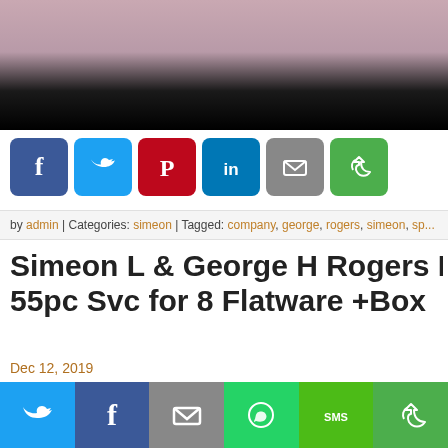[Figure (photo): Top portion of a webpage showing a blurred pinkish-purple background image fading to black at the bottom]
[Figure (infographic): Social share buttons: Facebook (blue), Twitter (light blue), Pinterest (red), LinkedIn (blue), Email (gray), Recycle/share (green)]
by admin | Categories: simeon | Tagged: company, george, rogers, simeon, sp...
Simeon L & George H Rogers PRESEN 55pc Svc for 8 Flatware +Box
Dec 12, 2019
[Figure (photo): Product photo of a wooden flatware box/case containing silverware, partially visible]
[Figure (infographic): Bottom mobile share bar with Twitter (teal), Facebook (blue), Email (gray), WhatsApp (green), SMS (green), and share (green) buttons]